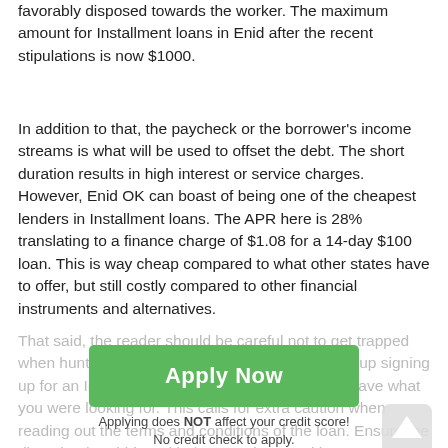favorably disposed towards the worker. The maximum amount for Installment loans in Enid after the recent stipulations is now $1000.
In addition to that, the paycheck or the borrower's income streams is what will be used to offset the debt. The short duration results in high interest or service charges. However, Enid OK can boast of being one of the cheapest lenders in Installment loans. The APR here is 28% translating to a finance charge of $1.08 for a 14-day $100 loan. This is way cheap compared to what other states have to offer, but still costly compared to other financial instruments and alternatives.
That said, the reader should be careful not to get trapped when hunting for cash loans online. You may end up signing up for an Installment loan all along, thinking you have what you were looking for. This calls for extra caution when reading out the terms and conditions of the loan. Ensure the direct lender abides with the state laws and be
[Figure (other): Green 'Apply Now' button overlay with subtext 'Applying does NOT affect your credit score! No credit check to apply.' and a scroll-up arrow icon to the right]